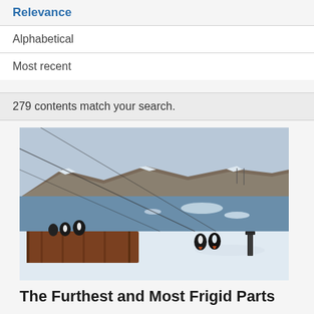Relevance
Alphabetical
Most recent
279 contents match your search.
[Figure (photo): Antarctic scene with penguins on snow, icy water in background, rocky snowy hills, wooden structure with penguins, cables visible]
The Furthest and Most Frigid Parts